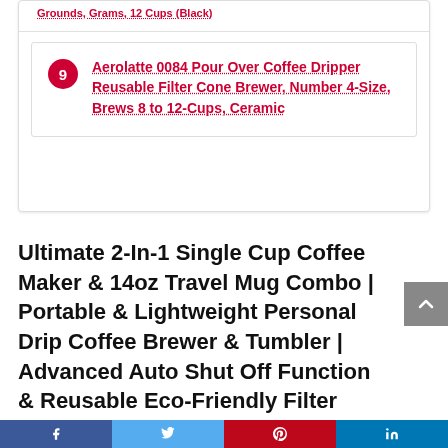Grounds, Grams, 12 Cups (Black)
Aerolatte 0084 Pour Over Coffee Dripper Reusable Filter Cone Brewer, Number 4-Size, Brews 8 to 12-Cups, Ceramic
Ultimate 2-In-1 Single Cup Coffee Maker & 14oz Travel Mug Combo | Portable & Lightweight Personal Drip Coffee Brewer & Tumbler | Advanced Auto Shut Off Function & Reusable Eco-Friendly Filter